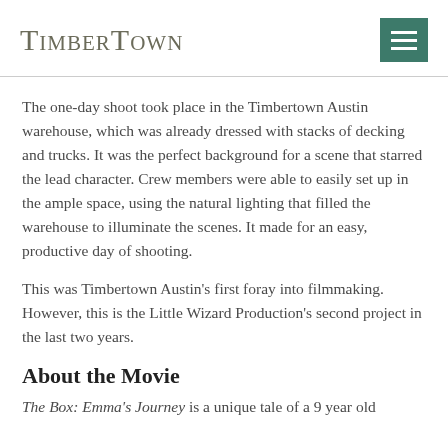TimberTown
The one-day shoot took place in the Timbertown Austin warehouse, which was already dressed with stacks of decking and trucks. It was the perfect background for a scene that starred the lead character. Crew members were able to easily set up in the ample space, using the natural lighting that filled the warehouse to illuminate the scenes. It made for an easy, productive day of shooting.
This was Timbertown Austin's first foray into filmmaking. However, this is the Little Wizard Production's second project in the last two years.
About the Movie
The Box: Emma's Journey is a unique tale of a 9 year old